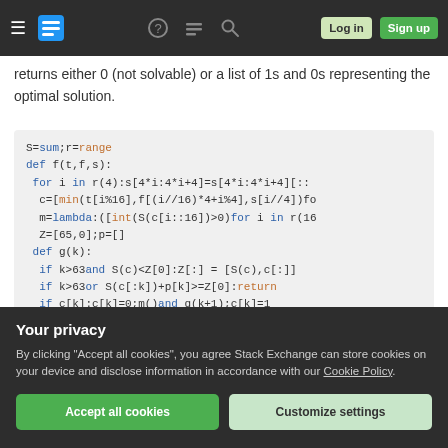Stack Exchange navigation bar with hamburger menu, logo, icons, Log in and Sign up buttons
returns either 0 (not solvable) or a list of 1s and 0s representing the optimal solution.
[Figure (screenshot): Code block showing Python code: S=sum;r=range / def f(t,f,s): / for i in r(4):s[4*i:4*i+4]=s[4*i:4*i+4][:: / c=[min(t[i%16],f[(i//16)*4+i%4],s[i//4])fo / m=lambda:([int(S(c[i::16])>0)for i in r(16 / Z=[65,0];p=[] / def g(k): / if k>63and S(c)<Z[0]:Z[:] = [S(c),c[:]] / if k>63or S(c[:k])+p[k]>=Z[0]:return / if c[k]:c[k]=0;m()and g(k+1);c[k]=1]
Your privacy
By clicking "Accept all cookies", you agree Stack Exchange can store cookies on your device and disclose information in accordance with our Cookie Policy.
Accept all cookies
Customize settings